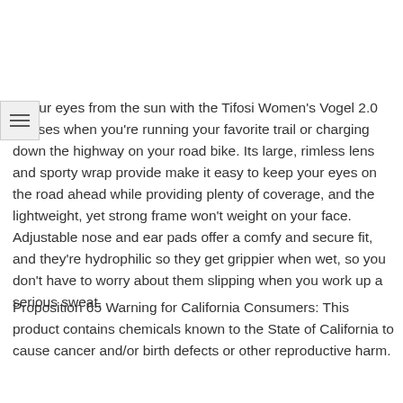d your eyes from the sun with the Tifosi Women's Vogel 2.0 glasses when you're running your favorite trail or charging down the highway on your road bike. Its large, rimless lens and sporty wrap provide make it easy to keep your eyes on the road ahead while providing plenty of coverage, and the lightweight, yet strong frame won't weight on your face. Adjustable nose and ear pads offer a comfy and secure fit, and they're hydrophilic so they get grippier when wet, so you don't have to worry about them slipping when you work up a serious sweat.
Proposition 65 Warning for California Consumers: This product contains chemicals known to the State of California to cause cancer and/or birth defects or other reproductive harm.